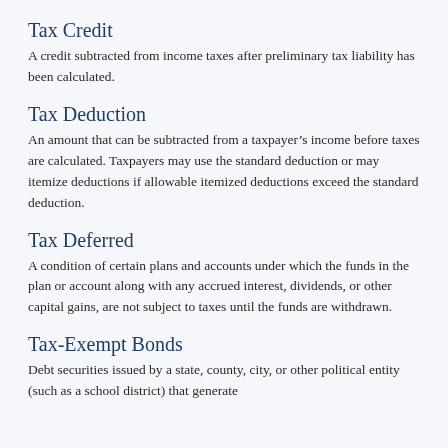Tax Credit
A credit subtracted from income taxes after preliminary tax liability has been calculated.
Tax Deduction
An amount that can be subtracted from a taxpayer’s income before taxes are calculated. Taxpayers may use the standard deduction or may itemize deductions if allowable itemized deductions exceed the standard deduction.
Tax Deferred
A condition of certain plans and accounts under which the funds in the plan or account along with any accrued interest, dividends, or other capital gains, are not subject to taxes until the funds are withdrawn.
Tax-Exempt Bonds
Debt securities issued by a state, county, city, or other political entity (such as a school district) that generate